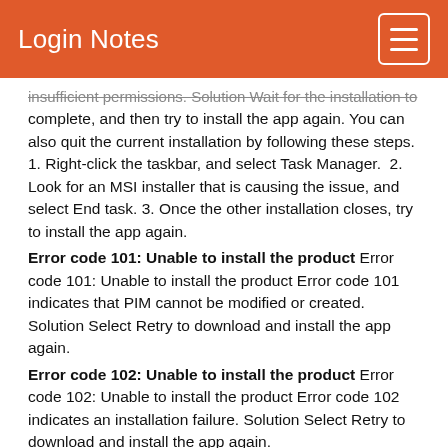Login Notes
insufficient permissions. Solution Wait for the installation to complete, and then try to install the app again. You can also quit the current installation by following these steps. 1. Right-click the taskbar, and select Task Manager.  2. Look for an MSI installer that is causing the issue, and select End task. 3. Once the other installation closes, try to install the app again.
Error code 101: Unable to install the product Error code 101: Unable to install the product Error code 101 indicates that PIM cannot be modified or created. Solution Select Retry to download and install the app again.
Error code 102: Unable to install the product Error code 102: Unable to install the product Error code 102 indicates an installation failure. Solution Select Retry to download and install the app again.
Error code 103: Unable to install the product Error code 103: Unable to install the product Error code 103 indicates an installation failure. Solution Select Retry to download and install the app again.
Error code 105: Unable to install/uninstall the product Error code 105: Unable to install/uninstall the product Error code 105 indicates that the installation fails when you try to install Adobe